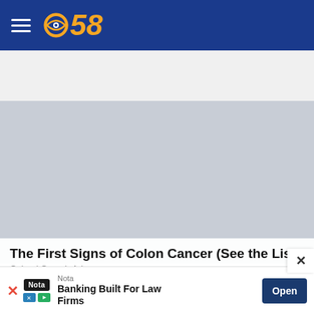CBS 58
[Figure (photo): Person in red top and blue jeans viewed from behind, hands clasped together at lower back]
The First Signs of Colon Cancer (See the List)
Colon | Search Ads
[Figure (infographic): Advertisement banner: Nota - Banking Built For Law Firms - Open button]